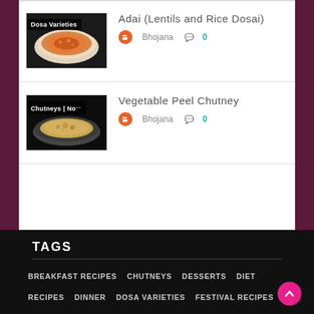[Figure (photo): Thumbnail image of a dosa dish with text overlay 'Dosa Varieties']
Adai (Lentils and Rice Dosai)
Bhojana  0
[Figure (photo): Thumbnail image of a chutney dish with text overlay 'Chutneys  No...']
Vegetable Peel Chutney
Bhojana  0
TAGS
BREAKFAST RECIPES
CHUTNEYS
DESSERTS
DIET RECIPES
DINNER
DOSA VARIETIES
FESTIVAL RECIPES
KOOTTU RECIPES
MILLET RECIPES
NORTH INDIAN
PARATHAS
RAITHAS
SIDE DISHES
SOUPS
SWEETS